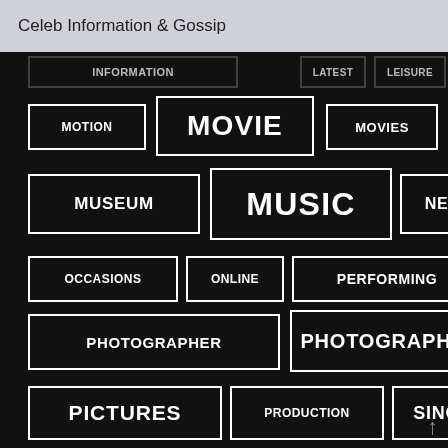Celeb Information & Gossip
[Figure (infographic): Tag cloud on black background with white-bordered label boxes containing words: INFORMATION, LATEST, LEISURE, MOTION, MOVIE, MOVIES, MUSEUM, MUSIC, NEWEST, OCCASIONS, ONLINE, PERFORMING, PHOTOGRAPHER, PHOTOGRAPHY, PICTURES, PRODUCTION, SINGER, THEATERS, THEATRE, TICKETS, WEDDING, WORLD. Words are sized by frequency/importance.]